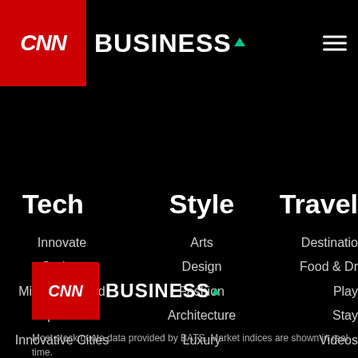CNN Business
Tech
Innovate
Gadget
Mission: Ahead
Upstarts
Innovative Cities
Style
Arts
Design
Fashion
Architecture
Luxury
Autos
Video
Travel
Destinations
Food & Drink
Play
Stay
Videos
[Figure (logo): CNN Business logo repeated at bottom]
Most stock quote data provided by BATS. Market indices are shown in real time. Reserved. Factset: FactSet Research Systems Inc.2019. All rights reserved. Chicago reserved. Dow Jones: The Dow Jones branded indices are proprietary to and are S&P Opco, LLC and CNN. Standard & Poor's and S&P are registered trademarks